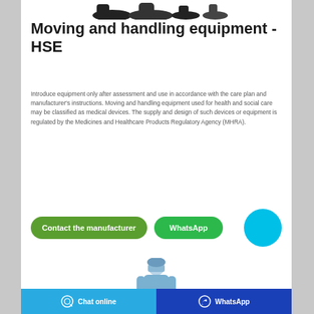[Figure (photo): Partial view of black safety shoes/footwear at the top of the page]
Moving and handling equipment - HSE
Introduce equipment only after assessment and use in accordance with the care plan and manufacturer's instructions. Moving and handling equipment used for health and social care may be classified as medical devices. The supply and design of such devices or equipment is regulated by the Medicines and Healthcare Products Regulatory Agency (MHRA).
[Figure (other): Green button labeled 'Contact the manufacturer']
[Figure (other): Green button labeled 'WhatsApp']
[Figure (other): Cyan circular chat button]
[Figure (photo): Person in blue medical scrubs and face mask at bottom of page]
Chat online    WhatsApp